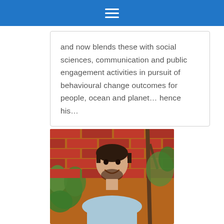≡
and now blends these with social sciences, communication and public engagement activities in pursuit of behavioural change outcomes for people, ocean and planet… hence his…
[Figure (photo): Portrait photo of a young man with dark hair and beard, smiling, wearing a light blue shirt, standing in front of a brick wall with green plants/vines in the background.]